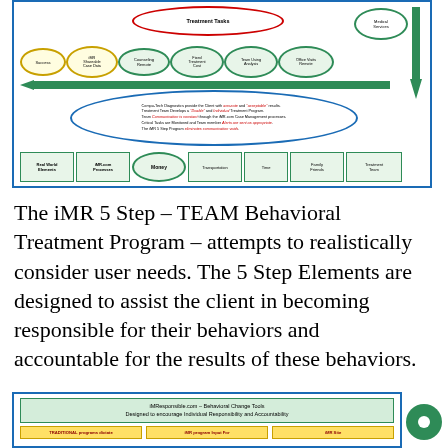[Figure (flowchart): iMR 5 Step TEAM Behavioral Treatment Program diagram showing Treatment Tasks oval at top (red border), Medical Services oval (green border), row of yellow and green ovals (Success, iMR Shareable Case Data, Counseling Remote, Fixed Treatment Cost, Team Using Analysis, Office Visits Remote), green horizontal arrow, blue oval with text about Compu-Tech Diagnostics, Treatment Team, Team Communication, Critical Tasks, and iMR 5 Step Program, and bottom row of green-bordered cells: Real World Elements, iMR.com Processes, Money (oval), Transportation, Time, Family Friends, Treatment Team.]
The iMR 5 Step – TEAM Behavioral Treatment Program – attempts to realistically consider user needs. The 5 Step Elements are designed to assist the client in becoming responsible for their behaviors and accountable for the results of these behaviors.
[Figure (infographic): iMResponsible.com – Behavioral Change Tools. Designed to encourage Individual Responsibility and Accountability. Bottom row partially visible with TRADITIONAL programs dictate, iMR program Input For, iMR Site columns.]